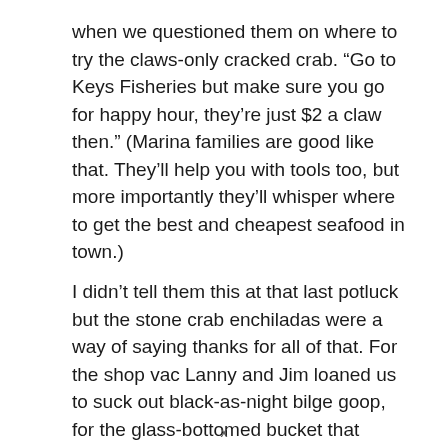when we questioned them on where to try the claws-only cracked crab. “Go to Keys Fisheries but make sure you go for happy hour, they’re just $2 a claw then.” (Marina families are good like that. They’ll help you with tools too, but more importantly they’ll whisper where to get the best and cheapest seafood in town.)
I didn’t tell them this at that last potluck but the stone crab enchiladas were a way of saying thanks for all of that. For the shop vac Lanny and Jim loaned us to suck out black-as-night bilge goop, for the glass-bottomed bucket that Dennis and Debbie gifted us before we headed out to the Bahamas so
x